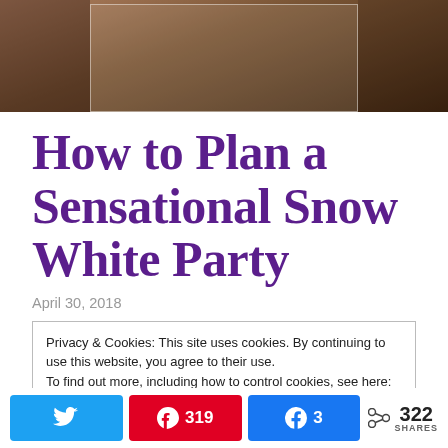[Figure (photo): Photo of people standing behind a table with food platters, one person appears dressed as Snow White]
How to Plan a Sensational Snow White Party
April 30, 2018
Privacy & Cookies: This site uses cookies. By continuing to use this website, you agree to their use.
To find out more, including how to control cookies, see here: Cookie Policy
Twitter share button | Pinterest 319 | Facebook 3 | Share 322 SHARES